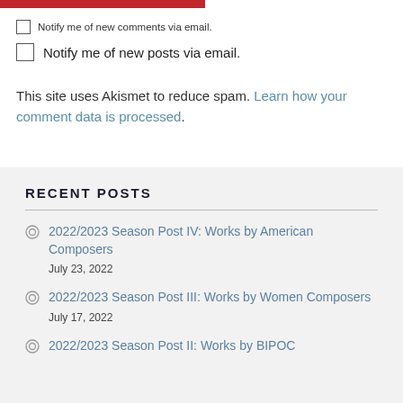Notify me of new comments via email.
Notify me of new posts via email.
This site uses Akismet to reduce spam. Learn how your comment data is processed.
RECENT POSTS
2022/2023 Season Post IV: Works by American Composers
July 23, 2022
2022/2023 Season Post III: Works by Women Composers
July 17, 2022
2022/2023 Season Post II: Works by BIPOC